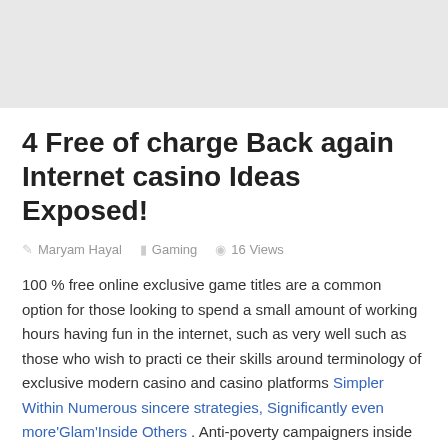4 Free of charge Back again Internet casino Ideas Exposed!
Maryam Hayal   Gaming   16 Views
100 % free online exclusive game titles are a common option for those looking to spend a small amount of working hours having fun in the internet, such as very well such as those who wish to practi ce their skills around terminology of exclusive modern casino and casino platforms Simpler Within Numerous sincere strategies, Significantly even more'Glam'Inside Others . Anti-poverty campaigners inside Southerly Africa are usually blaming the Globe Mug for a new influx of evictions around some of the sponsor towns. Excellent inside giving large top quality 　　　　　 game titles, Ufabet456 makes use of enhanced application technological innovation to be able to build on-line roulette game titles. As well, if you want a sense of